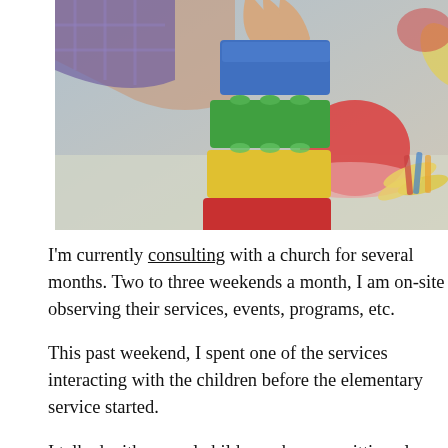[Figure (photo): Child's hands stacking colorful building blocks (Lego Duplo style) — blue, green, yellow, red from top to bottom. Background shows blurred play items including a red circular object, yellow shapes, and colored pencils.]
I'm currently consulting with a church for several months. Two to three weekends a month, I am on-site observing their services, events, programs, etc.
This past weekend, I spent one of the services interacting with the children before the elementary service started.
I talked with several children who were sitting alone or